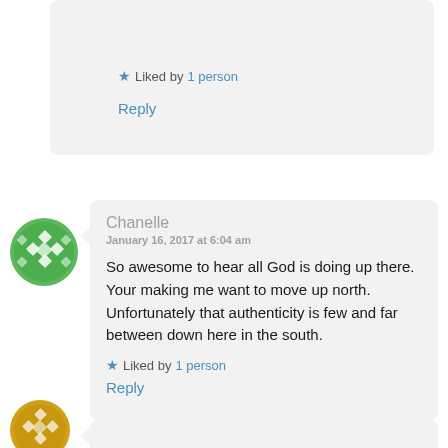Liked by 1 person
Reply
[Figure (illustration): Green decorative avatar icon with diamond pattern]
Chanelle
January 16, 2017 at 6:04 am
So awesome to hear all God is doing up there. Your making me want to move up north. Unfortunately that authenticity is few and far between down here in the south.
Liked by 1 person
Reply
[Figure (illustration): Gold/orange decorative avatar icon]